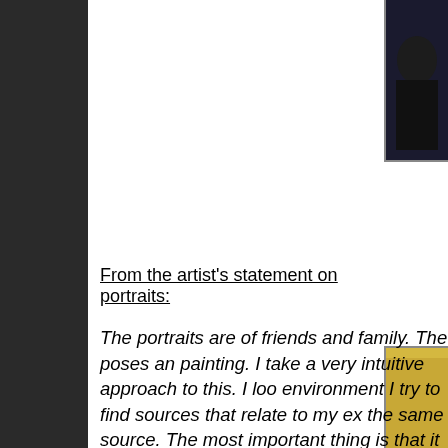[Figure (photo): Partial photo visible in top-right corner, dark tones, appears to be a portrait]
From the artist's statement on portraits:
The portraits are of friends and family. The poses an painting. I take a very intuitive approach to this. I loo environment I try to find sources that relate to my ex the same source. The most important thing is that it Rather I am interested in making connections from n After I find an environment I paint a very loose and s them in the environment (backdrop) and paint them want to the painting to be fresh and not labored.
[Figure (photo): Partial photo visible in bottom-right corner, golden/yellow tones]